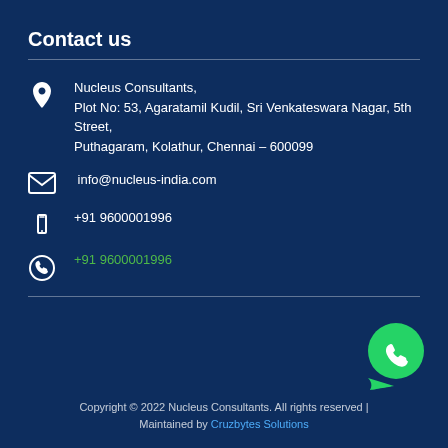Contact us
Nucleus Consultants,
Plot No: 53, Agaratamil Kudil, Sri Venkateswara Nagar, 5th Street,
Puthagaram, Kolathur, Chennai – 600099
info@nucleus-india.com
+91 9600001996
+91 9600001996
[Figure (logo): WhatsApp green phone icon bubble logo]
Copyright © 2022 Nucleus Consultants. All rights reserved | Maintained by Cruzbytes Solutions